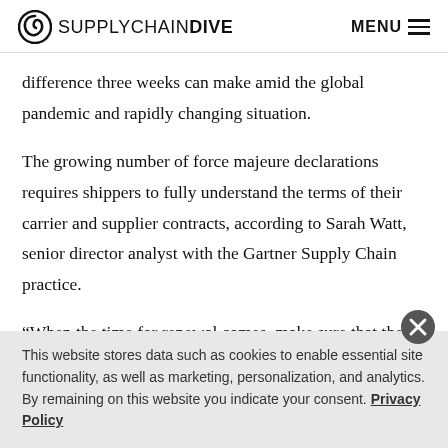SUPPLYCHAINDIVE  MENU
difference three weeks can make amid the global pandemic and rapidly changing situation.
The growing number of force majeure declarations requires shippers to fully understand the terms of their carrier and supplier contracts, according to Sarah Watt, senior director analyst with the Gartner Supply Chain practice.
“When the time for renewal comes, make sure that the
This website stores data such as cookies to enable essential site functionality, as well as marketing, personalization, and analytics. By remaining on this website you indicate your consent. Privacy Policy